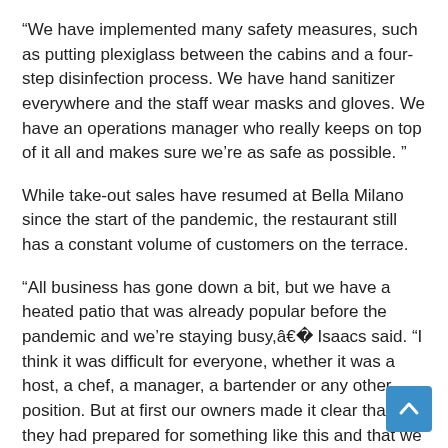“We have implemented many safety measures, such as putting plexiglass between the cabins and a four-step disinfection process. We have hand sanitizer everywhere and the staff wear masks and gloves. We have an operations manager who really keeps on top of it all and makes sure we’re as safe as possible. ”
While take-out sales have resumed at Bella Milano since the start of the pandemic, the restaurant still has a constant volume of customers on the terrace.
“All business has gone down a bit, but we have a heated patio that was already popular before the pandemic and we’re staying busy,â€� Isaacs said. “I think it was difficult for everyone, whether it was a host, a chef, a manager, a bartender or any other position. But at first our owners made it clear that they had prepared for something like this and that we had nothing to worry about. They had action plans to conduct their business safely.